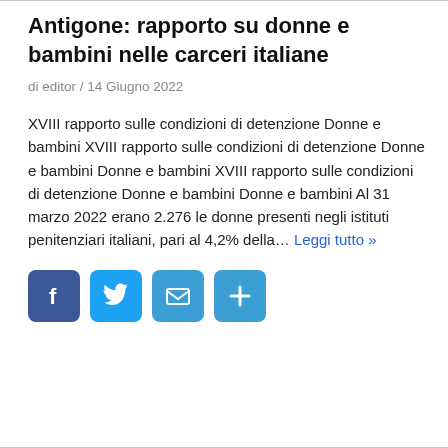Antigone: rapporto su donne e bambini nelle carceri italiane
di editor / 14 Giugno 2022
XVIII rapporto sulle condizioni di detenzione Donne e bambini XVIII rapporto sulle condizioni di detenzione Donne e bambini Donne e bambini XVIII rapporto sulle condizioni di detenzione Donne e bambini Donne e bambini Al 31 marzo 2022 erano 2.276 le donne presenti negli istituti penitenziari italiani, pari al 4,2% della… Leggi tutto »
[Figure (infographic): Four social sharing buttons: Facebook (blue), Twitter (light blue), Email (blue), Plus/Share (blue)]